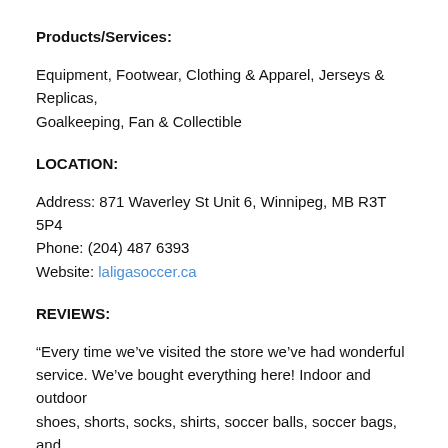Products/Services:
Equipment, Footwear, Clothing & Apparel, Jerseys & Replicas, Goalkeeping, Fan & Collectible
LOCATION:
Address: 871 Waverley St Unit 6, Winnipeg, MB R3T 5P4
Phone: (204) 487 6393
Website: laligasoccer.ca
REVIEWS:
“Every time we’ve visited the store we’ve had wonderful service. We’ve bought everything here! Indoor and outdoor shoes, shorts, socks, shirts, soccer balls, soccer bags, and